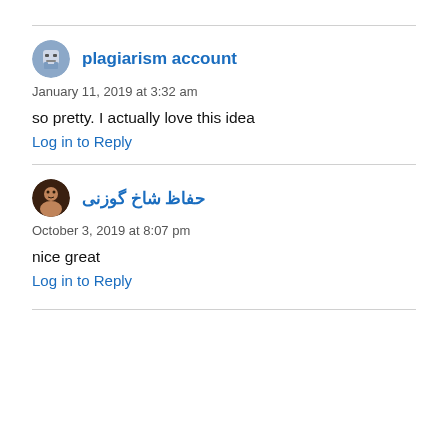plagiarism account
January 11, 2019 at 3:32 am
so pretty. I actually love this idea
Log in to Reply
حفاظ شاخ گوزنی
October 3, 2019 at 8:07 pm
nice great
Log in to Reply